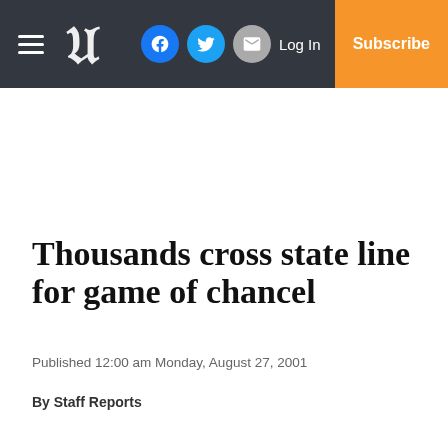Navigation bar with hamburger menu, newspaper logo, Facebook, Twitter, Email icons, Log In, Subscribe
Thousands cross state line for game of chancel
Published 12:00 am Monday, August 27, 2001
By Staff Reports